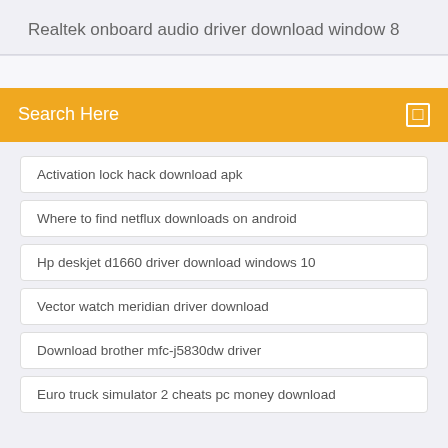Realtek onboard audio driver download window 8
Activation lock hack download apk
Where to find netflux downloads on android
Hp deskjet d1660 driver download windows 10
Vector watch meridian driver download
Download brother mfc-j5830dw driver
Euro truck simulator 2 cheats pc money download